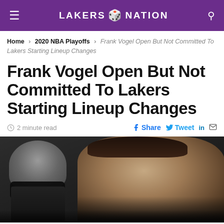LAKERS NATION
Home > 2020 NBA Playoffs > Frank Vogel Open But Not Committed To Lakers Starting Lineup Changes
Frank Vogel Open But Not Committed To Lakers Starting Lineup Changes
2 minute read   Share  Tweet  in  [mail]
[Figure (photo): Photo of two people, one wearing a mask in the background and another man (Frank Vogel) in the foreground, in a dark setting]